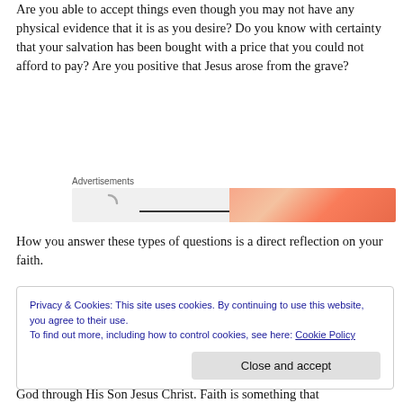Are you able to accept things even though you may not have any physical evidence that it is as you desire? Do you know with certainty that your salvation has been bought with a price that you could not afford to pay? Are you positive that Jesus arose from the grave?
[Figure (screenshot): Advertisement banner with loading spinner on left and orange gradient design on right, labeled 'Advertisements']
How you answer these types of questions is a direct reflection on your faith.
Privacy & Cookies: This site uses cookies. By continuing to use this website, you agree to their use. To find out more, including how to control cookies, see here: Cookie Policy [Close and accept button]
God through His Son Jesus Christ. Faith is something that